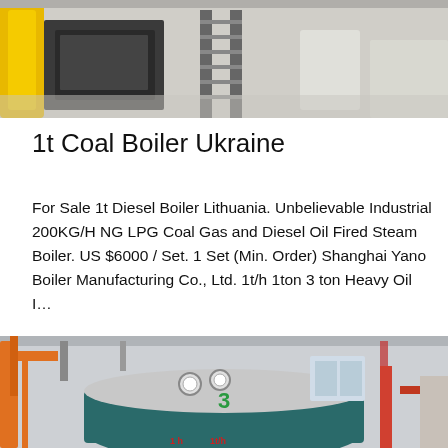[Figure (photo): Industrial boiler workshop interior with yellow cylindrical tanks, machinery, and metal staircases on a concrete floor]
1t Coal Boiler Ukraine
For Sale 1t Diesel Boiler Lithuania. Unbelievable Industrial 200KG/H NG LPG Coal Gas and Diesel Oil Fired Steam Boiler. US $6000 / Set. 1 Set (Min. Order) Shanghai Yano Boiler Manufacturing Co., Ltd. 1t/h 1ton 3 ton Heavy Oil I…
[Figure (other): Get Price button (blue rounded rectangle)]
[Figure (photo): Industrial boiler facility with orange crane arm, teal-colored horizontal boiler unit labeled '3', gauges, pipes, and factory interior]